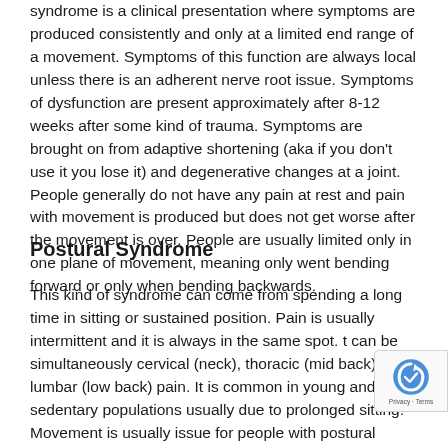syndrome is a clinical presentation where symptoms are produced consistently and only at a limited end range of a movement. Symptoms of this function are always local unless there is an adherent nerve root issue. Symptoms of dysfunction are present approximately after 8-12 weeks after some kind of trauma. Symptoms are brought on from adaptive shortening (aka if you don't use it you lose it) and degenerative changes at a joint. People generally do not have any pain at rest and pain with movement is produced but does not get worse after the movement is over. People are usually limited only in one plane of movement, meaning only went bending forward or only when bending backwards.
Postural Syndrome
This kind of syndrome can come from spending a long time in sitting or sustained position. Pain is usually intermittent and it is always in the same spot. t can be simultaneously cervical (neck), thoracic (mid back), and lumbar (low back) pain. It is common in young and sedentary populations usually due to prolonged sitting. Movement is usually issue for people with postural syndrome. However, sitting and sustained positions can also cause symptoms.